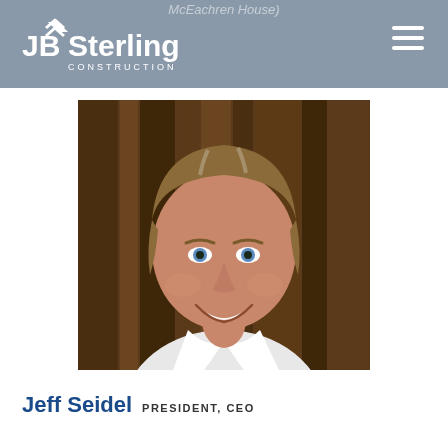McEachren House)
[Figure (logo): JB Sterling Construction logo — white text with chevron/arrow icon above the J]
[Figure (photo): Portrait photo of Jeff Seidel, a middle-aged man with brown-grey hair wearing a white shirt, smiling, against a wood-panel background]
Jeff Seidel PRESIDENT, CEO